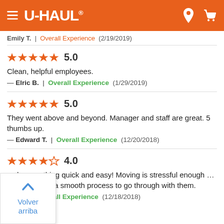[Figure (screenshot): U-Haul website header with orange background, hamburger menu icon, U-Haul logo, location pin icon, and cart icon]
Emily T. | Overall Experience (2/19/2019)
★★★★★ 5.0
Clean, helpful employees.
— Elric B. | Overall Experience (1/29/2019)
★★★★★ 5.0
They went above and beyond. Manager and staff are great. 5 thumbs up.
— Edward T. | Overall Experience (12/20/2018)
★★★★☆ 4.0
...de everything quick and easy! Moving is stressful enough ...was definitely a smooth process to go through with them.
— ...b. | Overall Experience (12/18/2018)
Volver arriba